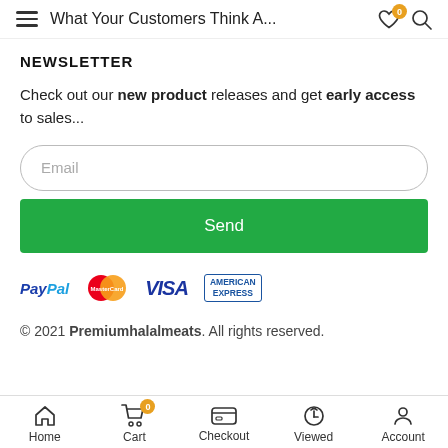What Your Customers Think A...
NEWSLETTER
Check out our new product releases and get early access to sales...
Email (input field)
Send (button)
[Figure (logo): Payment method logos: PayPal, MasterCard, VISA, American Express]
© 2021 Premiumhalalmeats. All rights reserved.
Home  Cart 0  Checkout  Viewed  Account